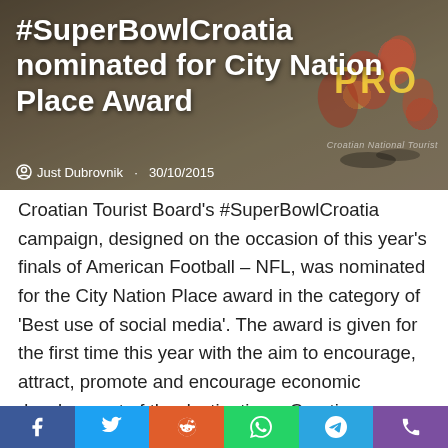[Figure (photo): Hero image showing American football players on field, with overlaid article title and metadata. Background shows action shot with team colors orange and red visible.]
#SuperBowlCroatia nominated for City Nation Place Award
Just Dubrovnik · 30/10/2015
Croatian Tourist Board's #SuperBowlCroatia campaign, designed on the occasion of this year's finals of American Football – NFL, was nominated for the City Nation Place award in the category of 'Best use of social media'. The award is given for the first time this year with the aim to encourage, attract, promote and encourage economic development of the destinations. Croatian National Tourist Board was nominated in the same category with the Austrian National Tourist Office, ConnectIreland.com
[Figure (infographic): Social media sharing bar with Facebook, Twitter, Reddit, WhatsApp, Telegram, and phone icons]